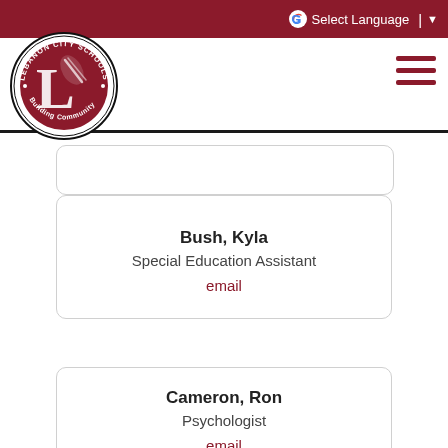Lebanon City Schools — Select Language
[Figure (logo): Lebanon City Schools circular logo with 'L' letter mascot and text 'Building Community']
Bush, Kyla
Special Education Assistant
email
Cameron, Ron
Psychologist
email